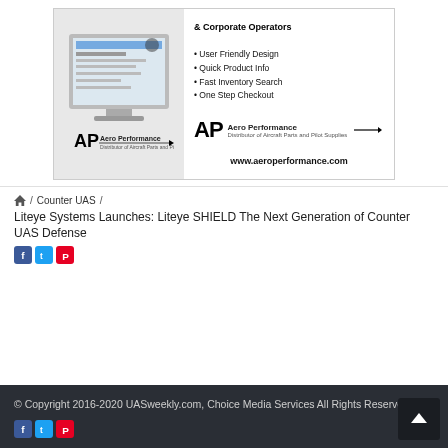[Figure (illustration): Advertisement for Aero Performance website showing a desktop computer with the website displayed. Text includes bullet points: User Friendly Design, Quick Product Info, Fast Inventory Search, One Step Checkout. AP logo with 'Aero Performance' and www.aeroperformance.com]
/ Counter UAS /
Liteye Systems Launches: Liteye SHIELD The Next Generation of Counter UAS Defense
© Copyright 2016-2020 UASweekly.com, Choice Media Services All Rights Reserved.